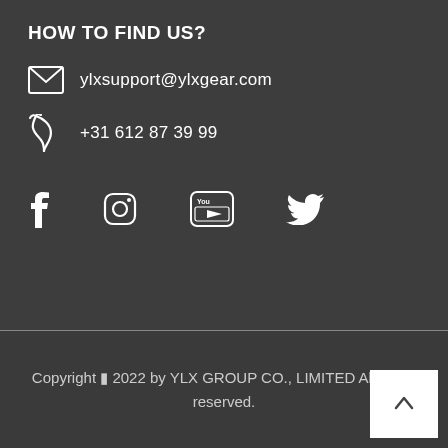HOW TO FIND US?
ylxsupport@ylxgear.com
+31 612 87 39 99
[Figure (infographic): Social media icons: Facebook, Instagram, YouTube, Twitter]
Copyright © 2022 by YLX GROUP CO., LIMITED All rights reserved.